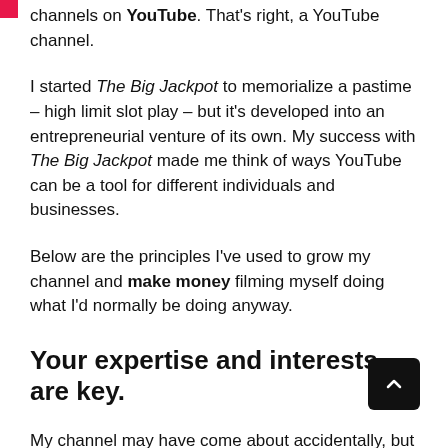channels on YouTube. That's right, a YouTube channel.
I started The Big Jackpot to memorialize a pastime – high limit slot play – but it's developed into an entrepreneurial venture of its own. My success with The Big Jackpot made me think of ways YouTube can be a tool for different individuals and businesses.
Below are the principles I've used to grow my channel and make money filming myself doing what I'd normally be doing anyway.
Your expertise and interests are key.
My channel may have come about accidentally, but you can